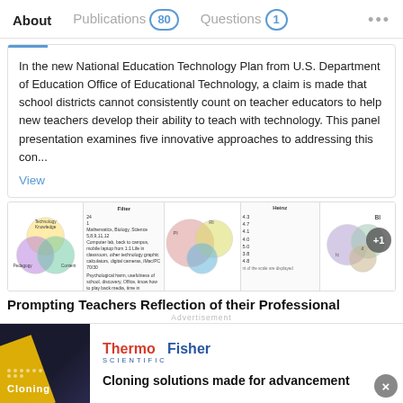About   Publications 80   Questions 1   ...
In the new National Education Technology Plan from U.S. Department of Education Office of Educational Technology, a claim is made that school districts cannot consistently count on teacher educators to help new teachers develop their ability to teach with technology. This panel presentation examines five innovative approaches to addressing this con...
View
[Figure (other): Row of four thumbnail images: Venn diagram, table/text, bubble chart, table with scores, and overlapping circles with +1 badge]
Prompting Teachers Reflection of their Professional
[Figure (infographic): Advertisement banner: ThermoFisher Scientific - Cloning solutions made for advancement, with dark blue image on left showing cloning text and yellow diagonal stripe]